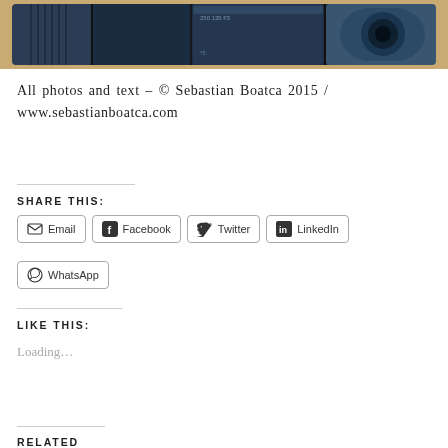[Figure (photo): Close-up photograph of a camera lens lying on a wooden surface. The lens is black/dark blue with metallic rings and markings, shown horizontally against a warm wood-toned background.]
All photos and text – © Sebastian Boatca 2015 / www.sebastianboatca.com
SHARE THIS:
Email
Facebook
Twitter
LinkedIn
WhatsApp
LIKE THIS:
Loading…
RELATED